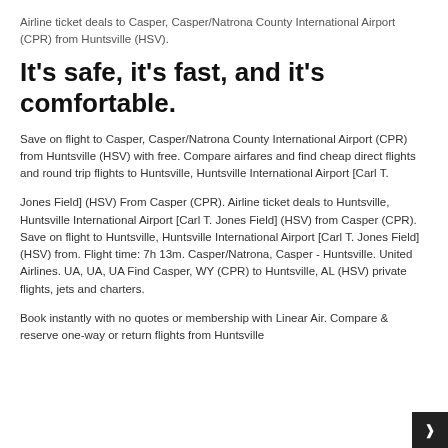Airline ticket deals to Casper, Casper/Natrona County International Airport (CPR) from Huntsville (HSV).
It's safe, it's fast, and it's comfortable.
Save on flight to Casper, Casper/Natrona County International Airport (CPR) from Huntsville (HSV) with free. Compare airfares and find cheap direct flights and round trip flights to Huntsville, Huntsville International Airport [Carl T.
Jones Field] (HSV) From Casper (CPR). Airline ticket deals to Huntsville, Huntsville International Airport [Carl T. Jones Field] (HSV) from Casper (CPR). Save on flight to Huntsville, Huntsville International Airport [Carl T. Jones Field] (HSV) from. Flight time: 7h 13m. Casper/Natrona, Casper - Huntsville. United Airlines. UA, UA, UA Find Casper, WY (CPR) to Huntsville, AL (HSV) private flights, jets and charters.
Book instantly with no quotes or membership with Linear Air. Compare & reserve one-way or return flights from Huntsville